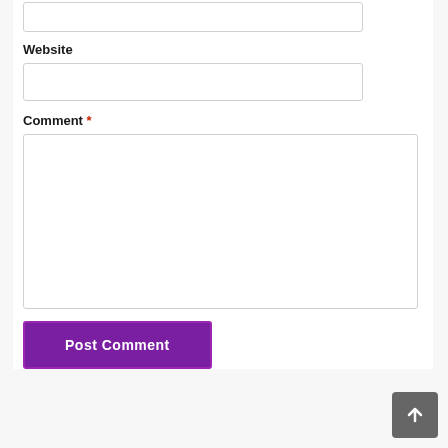Website
Comment *
Post Comment